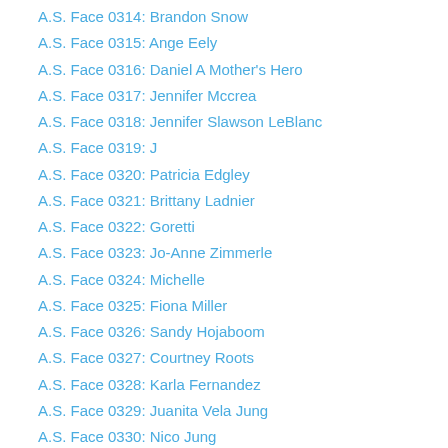A.S. Face 0314: Brandon Snow
A.S. Face 0315: Ange Eely
A.S. Face 0316: Daniel A Mother's Hero
A.S. Face 0317: Jennifer Mccrea
A.S. Face 0318: Jennifer Slawson LeBlanc
A.S. Face 0319: J
A.S. Face 0320: Patricia Edgley
A.S. Face 0321: Brittany Ladnier
A.S. Face 0322: Goretti
A.S. Face 0323: Jo-Anne Zimmerle
A.S. Face 0324: Michelle
A.S. Face 0325: Fiona Miller
A.S. Face 0326: Sandy Hojaboom
A.S. Face 0327: Courtney Roots
A.S. Face 0328: Karla Fernandez
A.S. Face 0329: Juanita Vela Jung
A.S. Face 0330: Nico Jung
A.S. Face 0331: Melissa Ciriacks
A.S. Face 0332: Kimberly Herrick
A.S. Face 0333: Samantha Guel